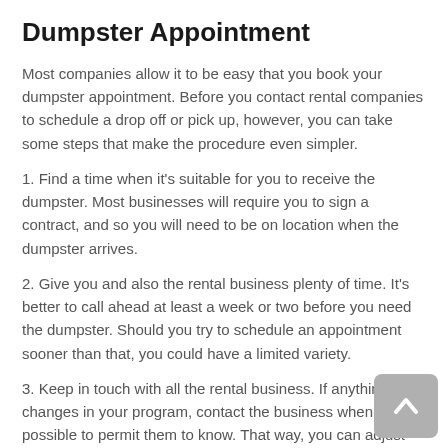Dumpster Appointment
Most companies allow it to be easy that you book your dumpster appointment. Before you contact rental companies to schedule a drop off or pick up, however, you can take some steps that make the procedure even simpler.
1. Find a time when it's suitable for you to receive the dumpster. Most businesses will require you to sign a contract, and so you will need to be on location when the dumpster arrives.
2. Give you and also the rental business plenty of time. It's better to call ahead at least a week or two before you need the dumpster. Should you try to schedule an appointment sooner than that, you could have a limited variety.
3. Keep in touch with all the rental business. If anything changes in your program, contact the business when possible to permit them to know. That way, you can adjust the appointment as needed without restricting your options.